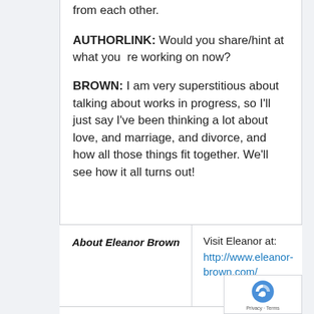from each other.
AUTHORLINK: Would you share/hint at what you re working on now?
BROWN: I am very superstitious about talking about works in progress, so I'll just say I've been thinking a lot about love, and marriage, and divorce, and how all those things fit together. We'll see how it all turns out!
About Eleanor Brown
Visit Eleanor at: http://www.eleanor-brown.com/